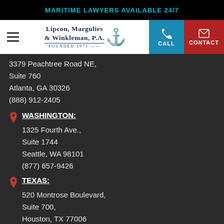MARITIME LAWYERS AVAILABLE 24/7
[Figure (logo): Lipcon, Margulies & Winkleman, P.A. Founded 1971 law firm logo with anchor icon, hamburger menu, CALL and CONTACT buttons]
3379 Peachtree Road NE, Suite 760
Atlanta, GA 30326
(888) 912-2405
WASHINGTON:
1325 Fourth Ave., Suite 1744
Seattle, WA 98101
(877) 657-9426
TEXAS:
520 Montrose Boulevard, Suite 700,
Houston, TX 77006
(877) 420-8245